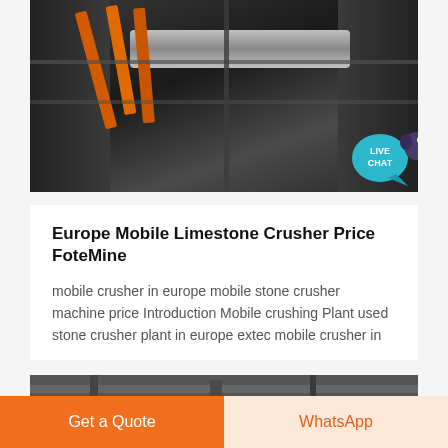[Figure (photo): Industrial machinery photo showing pipes and metal framework structure with orange cables/pipes and gray cylindrical pipe, dark steel framework visible]
Europe Mobile Limestone Crusher Price FoteMine
mobile crusher in europe mobile stone crusher machine price Introduction Mobile crushing Plant used stone crusher plant in europe extec mobile crusher in
[Figure (photo): Partial photo of industrial machinery, bottom portion visible showing dark metal structures]
Get a Quote
WhatsApp